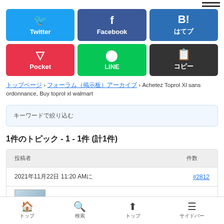[Figure (infographic): Social share buttons grid: Twitter (blue), Facebook (dark blue), B! hatena (blue), Pocket (red), LINE (green), copy button (dark gray)]
トップページ › フォーラム（掲示板）アーカイブ › Achetez Toprol Xl sans ordonnance, Buy toprol xl walmart
キーワードで絞り込む
1件のトピック - 1 - 1件 (計1件)
| 投稿者 | 件数 |
| --- | --- |
| 2021年11月22日 11:20 AMに | #2812 |
トップ　検索　トップ　サイドバー